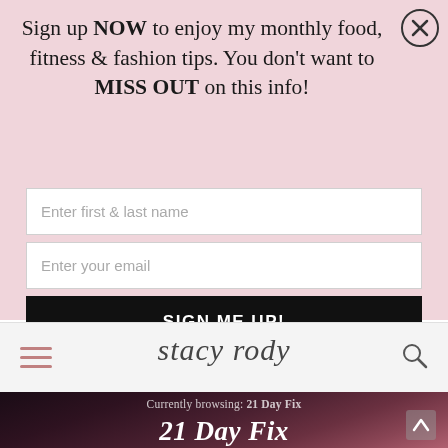Sign up NOW to enjoy my monthly food, fitness & fashion tips. You don't want to MISS OUT on this info!
[Figure (screenshot): Email signup form with two input fields (Enter first & last name, Enter your email) and a black SIGN ME UP! button]
[Figure (logo): Stacy Rody cursive script logo in navigation bar with hamburger menu icon on left and search icon on right]
Currently browsing: 21 Day Fix
21 Day Fix